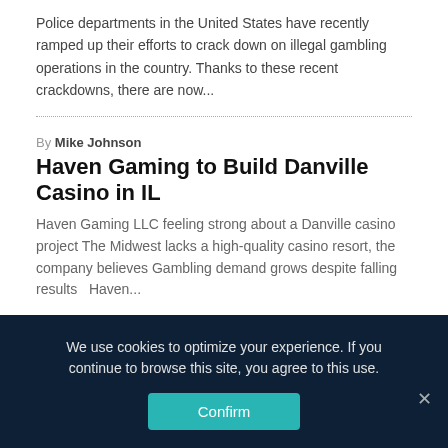Police departments in the United States have recently ramped up their efforts to crack down on illegal gambling operations in the country. Thanks to these recent crackdowns, there are now...
By Mike Johnson
Haven Gaming to Build Danville Casino in IL
Haven Gaming LLC feeling strong about a Danville casino project The Midwest lacks a high-quality casino resort, the company believes Gambling demand grows despite falling results   Haven...
By Mike Johnson
Mobile Betting Arrives in Indiana with Rush Street Interactive
Indiana to welcome first mobile betting sportsbook with Rush Street Interactive...
We use cookies to optimize your experience. If you continue to browse this site, you agree to this use.